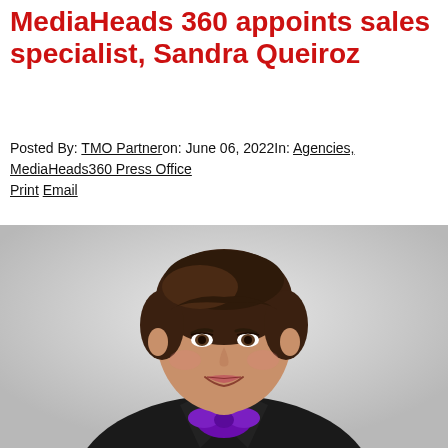MediaHeads 360 appoints sales specialist, Sandra Queiroz
Posted By: TMO Partneron: June 06, 2022In: Agencies, MediaHeads360 Press Office
Print Email
[Figure (photo): Professional headshot of Sandra Queiroz, a woman with short dark brown hair, smiling, wearing a black jacket with a purple satin bow/scarf at the neck, against a light grey background.]